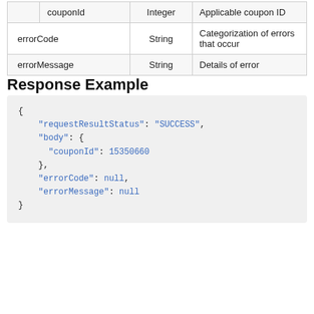|  | Name | Type | Description |
| --- | --- | --- | --- |
|  | couponId | Integer | Applicable coupon ID |
| errorCode |  | String | Categorization of errors that occur |
| errorMessage |  | String | Details of error |
Response Example
{
    "requestResultStatus": "SUCCESS",
    "body": {
        "couponId": 15350660
    },
    "errorCode": null,
    "errorMessage": null
}